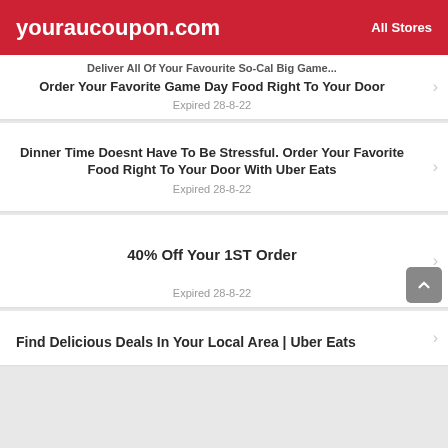youraucoupon.com   All Stores
Order Your Favorite Game Day Food Right To Your Door
Expired 28-8-22
Dinner Time Doesnt Have To Be Stressful. Order Your Favorite Food Right To Your Door With Uber Eats
Expired 28-8-22
40% Off Your 1ST Order
Expired 28-8-22
Find Delicious Deals In Your Local Area | Uber Eats